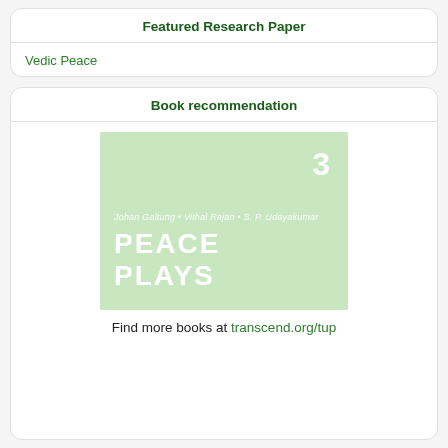Featured Research Paper
Vedic Peace
Book recommendation
[Figure (illustration): Book cover for 'Peace Plays' by Johan Galtung, Vithal Rajan, S. P. Udayakumar. Light green background with large white bold text 'PEACE PLAYS', number 3 in upper right, authors listed in italic white text.]
Find more books at transcend.org/tup